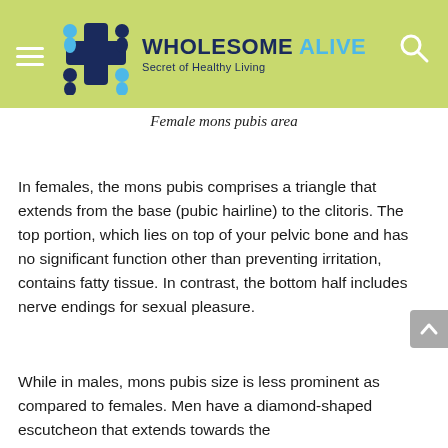WHOLESOME ALIVE — Secret of Healthy Living
Female mons pubis area
In females, the mons pubis comprises a triangle that extends from the base (pubic hairline) to the clitoris. The top portion, which lies on top of your pelvic bone and has no significant function other than preventing irritation, contains fatty tissue. In contrast, the bottom half includes nerve endings for sexual pleasure.
While in males, mons pubis size is less prominent as compared to females. Men have a diamond-shaped escutcheon that extends towards the